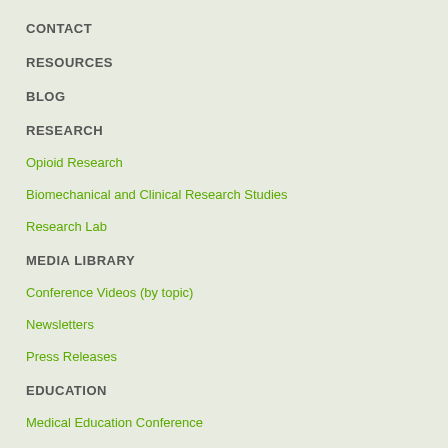CONTACT
RESOURCES
BLOG
RESEARCH
Opioid Research
Biomechanical and Clinical Research Studies
Research Lab
MEDIA LIBRARY
Conference Videos (by topic)
Newsletters
Press Releases
EDUCATION
Medical Education Conference
Internships